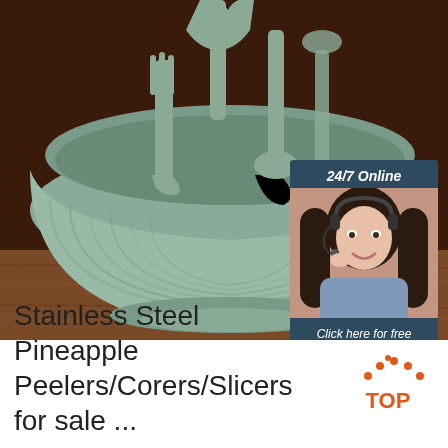[Figure (photo): A muted teal/sage green mixing bowl with utensils (fork, spatula, spoon shapes) resting inside it, on a wooden table surface with dark brown background. A customer service chat widget overlay in the top-right corner shows '24/7 Online', a female customer service agent wearing a headset, text 'Click here for free chat!', and an orange 'QUOTATION' button.]
[Figure (logo): Orange 'TOP' logo with orange dots arranged in an arc above the word TOP in bold orange letters on white background]
Stainless Steel Pineapple Peelers/Corers/Slicers for sale ...